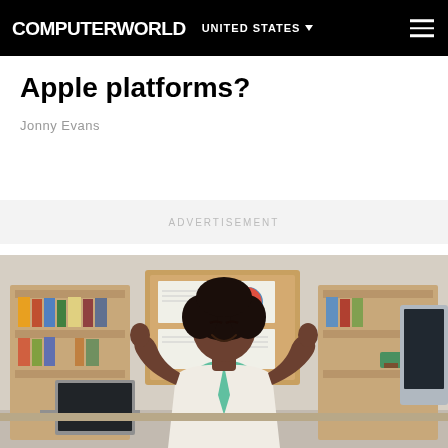COMPUTERWORLD  UNITED STATES
Apple platforms?
Jonny Evans
ADVERTISEMENT
[Figure (photo): A smiling Black woman in a white blazer and teal top standing in a relaxed, meditative pose with arms out and eyes closed in a modern office with bookshelves and a corkboard behind her, with a laptop and monitor visible.]